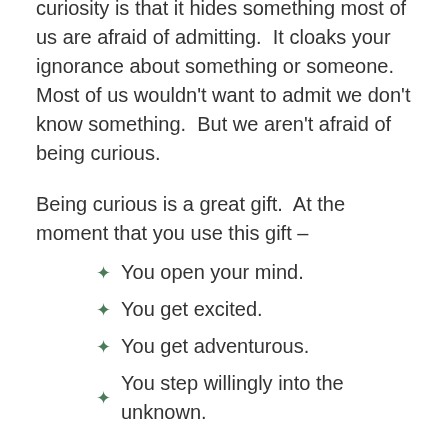I think that the most interesting thing about curiosity is that it hides something most of us are afraid of admitting.  It cloaks your ignorance about something or someone. Most of us wouldn't want to admit we don't know something.  But we aren't afraid of being curious.
Being curious is a great gift.  At the moment that you use this gift –
You open your mind.
You get excited.
You get adventurous.
You step willingly into the unknown.